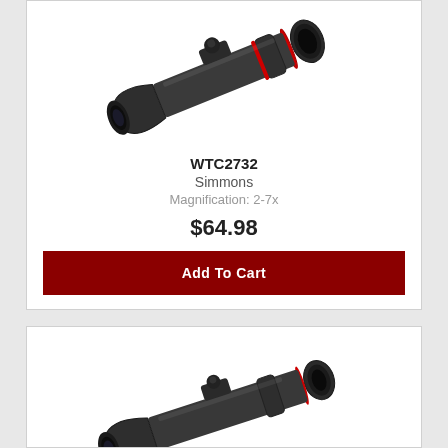[Figure (photo): A Simmons rifle scope photographed diagonally, dark gray/black body with red accent rings, on white background]
WTC2732
Simmons
Magnification: 2-7x
$64.98
Add To Cart
[Figure (photo): A second rifle scope photographed diagonally, dark body, partially visible at bottom of page]